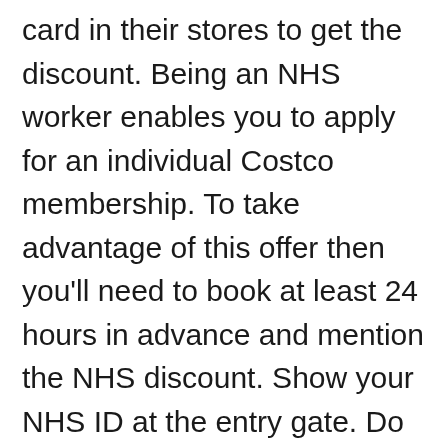card in their stores to get the discount. Being an NHS worker enables you to apply for an individual Costco membership. To take advantage of this offer then you'll need to book at least 24 hours in advance and mention the NHS discount. Show your NHS ID at the entry gate. Do Costa offer NHS discount? Sign up today as